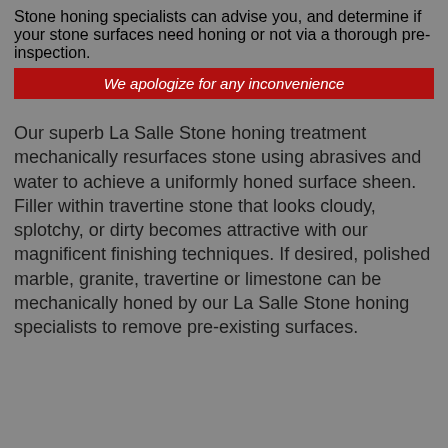Stone honing specialists can advise you, and determine if your stone surfaces need honing or not via a thorough pre-inspection.
We apologize for any inconvenience
Our superb La Salle Stone honing treatment mechanically resurfaces stone using abrasives and water to achieve a uniformly honed surface sheen. Filler within travertine stone that looks cloudy, splotchy, or dirty becomes attractive with our magnificent finishing techniques. If desired, polished marble, granite, travertine or limestone can be mechanically honed by our La Salle Stone honing specialists to remove pre-existing surfaces.